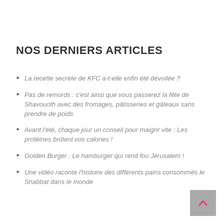NOS DERNIERS ARTICLES
La recette secrète de KFC a-t-elle enfin été dévoilée ?
Pas de remords : c'est ainsi que vous passerez la fête de Shavouoth avec des fromages, pâtisseries et gâteaux sans prendre de poids
Avant l'été, chaque jour un conseil pour maigrir vite : Les protéines brûlent vos calories !
Golden Burger : Le hamburger qui rend fou Jérusalem !
Une vidéo raconte l'histoire des différents pains consommés le Shabbat dans le monde